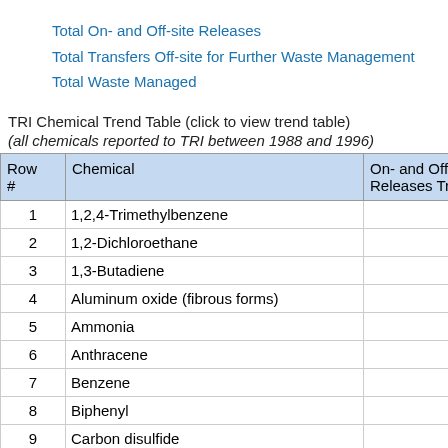Total On- and Off-site Releases
Total Transfers Off-site for Further Waste Management
Total Waste Managed
TRI Chemical Trend Table (click to view trend table)
(all chemicals reported to TRI between 1988 and 1996)
| Row # | Chemical | On- and Off-site Releases Tre |
| --- | --- | --- |
| 1 | 1,2,4-Trimethylbenzene |  |
| 2 | 1,2-Dichloroethane |  |
| 3 | 1,3-Butadiene |  |
| 4 | Aluminum oxide (fibrous forms) |  |
| 5 | Ammonia |  |
| 6 | Anthracene |  |
| 7 | Benzene |  |
| 8 | Biphenyl |  |
| 9 | Carbon disulfide |  |
| 10 | Carbon tetrachloride |  |
| 11 | Carbonyl sulfide |  |
| 12 | Certain glycol ethers |  |
| 13 | Chlorine |  |
| 14 | Chromium compounds (except for chromite ore mined in the |  |